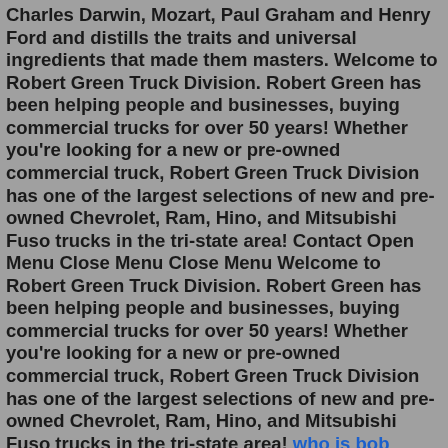Charles Darwin, Mozart, Paul Graham and Henry Ford and distills the traits and universal ingredients that made them masters. Welcome to Robert Green Truck Division. Robert Green has been helping people and businesses, buying commercial trucks for over 50 years! Whether you're looking for a new or pre-owned commercial truck, Robert Green Truck Division has one of the largest selections of new and pre-owned Chevrolet, Ram, Hino, and Mitsubishi Fuso trucks in the tri-state area! Contact Open Menu Close Menu Close Menu Welcome to Robert Green Truck Division. Robert Green has been helping people and businesses, buying commercial trucks for over 50 years! Whether you're looking for a new or pre-owned commercial truck, Robert Green Truck Division has one of the largest selections of new and pre-owned Chevrolet, Ram, Hino, and Mitsubishi Fuso trucks in the tri-state area! who is bob marly Jul 06, 2022 · Robert Richard Green 82,was one of three children born to the late Robert Green and Josphine Bell Green on July 20, 1939 in Dallas, Texas. He